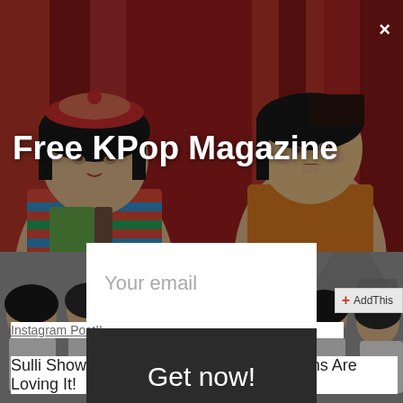[Figure (photo): Screenshot of a website popup/modal advertising a Free KPop Magazine subscription. Background shows collage of KPop artists. Modal contains an email input field and a 'Get now!' button.]
Free KPop Magazine
Your email
Get now!
Instagram Post!!
Sulli Shows Off Her New Hairstyle And Fans Are Loving It!